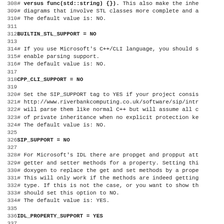Code/configuration file excerpt showing Doxygen configuration options, lines 308-339
308 # versus func(std::string) {}). This also make the inhe
309 # diagrams that involve STL classes more complete and a
310 # The default value is: NO.
311
312 BUILTIN_STL_SUPPORT    = NO
313
314 # If you use Microsoft's C++/CLI language, you should s
315 # enable parsing support.
316 # The default value is: NO.
317
318 CPP_CLI_SUPPORT        = NO
319
320 # Set the SIP_SUPPORT tag to YES if your project consis
321 # http://www.riverbankcomputing.co.uk/software/sip/intr
322 # will parse them like normal C++ but will assume all c
323 # of private inheritance when no explicit protection ke
324 # The default value is: NO.
325
326 SIP_SUPPORT            = NO
327
328 # For Microsoft's IDL there are propget and propput att
329 # getter and setter methods for a property. Setting thi
330 # doxygen to replace the get and set methods by a prope
331 # This will only work if the methods are indeed getting
332 # type. If this is not the case, or you want to show th
333 # should set this option to NO.
334 # The default value is: YES.
335
336 IDL_PROPERTY_SUPPORT   = YES
337
338 # If member grouping is used in the documentation and t
339 # tag is set to YES then doxygen will reuse the docume